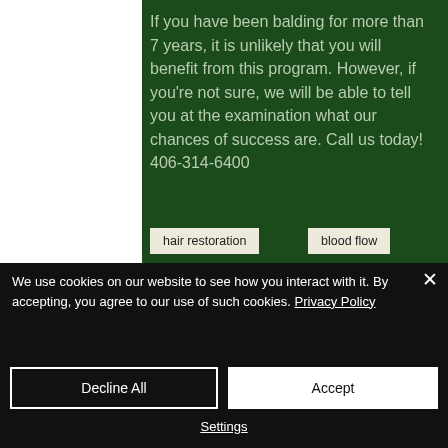If you have been balding for more than 7 years, it is unlikely that you will benefit from this program. However, if you're not sure, we will be able to tell you at the examination what our chances of success are. Call us today! 406-314-6400
hair restoration
blood flow
We use cookies on our website to see how you interact with it. By accepting, you agree to our use of such cookies. Privacy Policy
Decline All
Accept
Settings